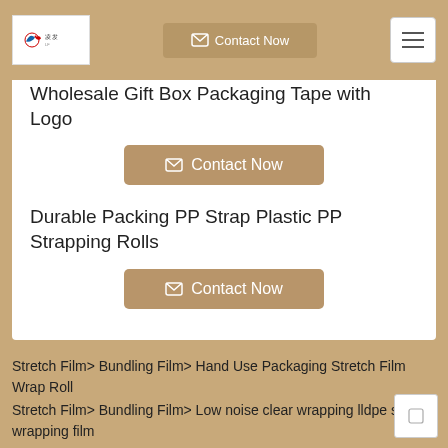[Figure (logo): Company logo with red and blue bird/figure icon and Chinese characters]
Contact Now
Wholesale Gift Box Packaging Tape with Logo
Contact Now
Durable Packing PP Strap Plastic PP Strapping Rolls
Contact Now
Stretch Film> Bundling Film> Hand Use Packaging Stretch Film Wrap Roll
Stretch Film> Bundling Film> Low noise clear wrapping lldpe stretch wrapping film
Stretch Film> Bundling Film> Polythene plastic wrapping film roll
Stretch Film> Bundling Film> handy home depot pe stretch wrap film